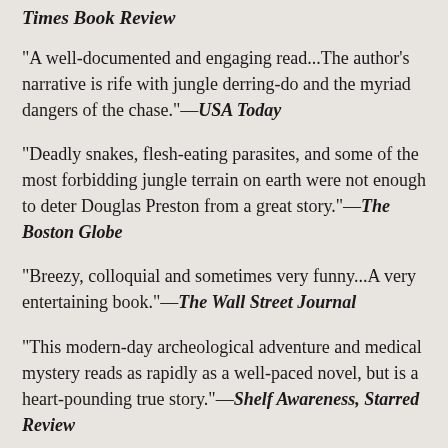Times Book Review
"A well-documented and engaging read...The author's narrative is rife with jungle derring-do and the myriad dangers of the chase."—USA Today
"Deadly snakes, flesh-eating parasites, and some of the most forbidding jungle terrain on earth were not enough to deter Douglas Preston from a great story."—The Boston Globe
"Breezy, colloquial and sometimes very funny...A very entertaining book."—The Wall Street Journal
"This modern-day archeological adventure and medical mystery reads as rapidly as a well-paced novel, but is a heart-pounding true story."—Shelf Awareness, Starred Review
"A captivating real-life adventure tale... Preston deftly explains the science behind this work and makes it exciting."—Science News